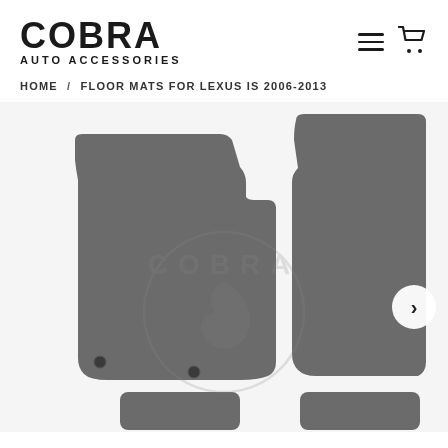COBRA AUTO ACCESSORIES
HOME / FLOOR MATS FOR LEXUS IS 2006-2013
[Figure (photo): Product photo showing four grey Lexus IS 2006-2013 floor mats arranged on a white background. Two larger front mats are prominently displayed with anti-slip grommets, and two smaller rear mats are visible at the bottom. A Cobra Auto Accessories watermark logo (snake in a circle with COBRA text) is overlaid in the center. A right-arrow navigation button appears on the right side.]